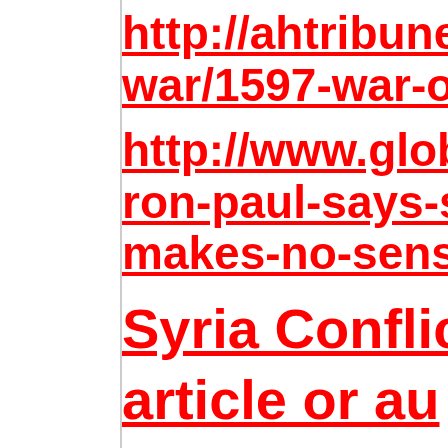http://ahtribune...war/1597-war-on...
http://www.glob...ron-paul-says-s...makes-no-sense...
Syria Conflic...article or au...